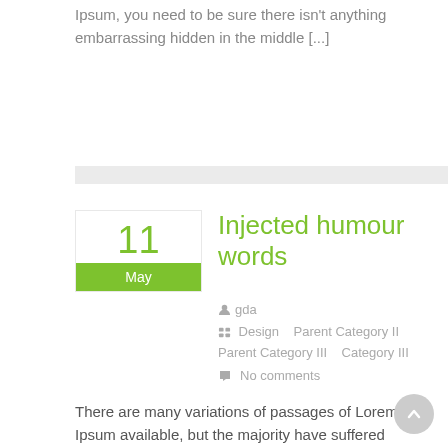Ipsum, you need to be sure there isn't anything embarrassing hidden in the middle [...]
Injected humour words
gda
Design   Parent Category II   Parent Category III
No comments
There are many variations of passages of Lorem Ipsum available, but the majority have suffered alteration in some form, by